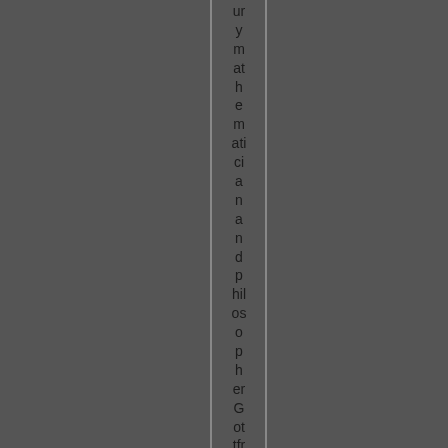ury mathematiciana and philosopher Gottfried Wilhelm